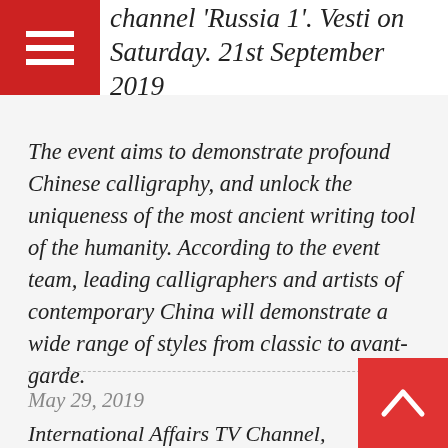channel 'Russia 1'. Vesti on Saturday. 21st September 2019
The event aims to demonstrate profound Chinese calligraphy, and unlock the uniqueness of the most ancient writing tool of the humanity. According to the event team, leading calligraphers and artists of contemporary China will demonstrate a wide range of styles from classic to avant-garde.
May 29, 2019
International Affairs TV Channel, May 29, 2019